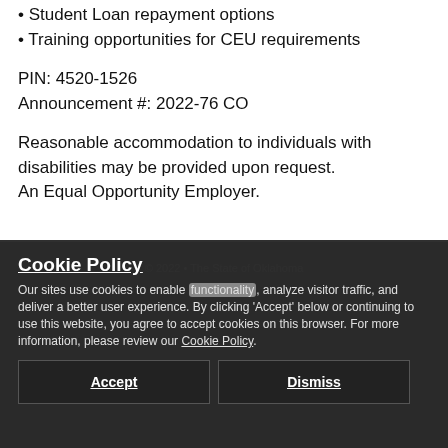• Student Loan repayment options
• Training opportunities for CEU requirements
PIN: 4520-1526
Announcement #: 2022-76 CO
Reasonable accommodation to individuals with disabilities may be provided upon request. An Equal Opportunity Employer.
© 2022 • The State of Oklahoma
Cookie Policy
Our sites use cookies to enable functionality, analyze visitor traffic, and deliver a better user experience. By clicking 'Accept' below or continuing to use this website, you agree to accept cookies on this browser. For more information, please review our Cookie Policy.
Accept
Dismiss